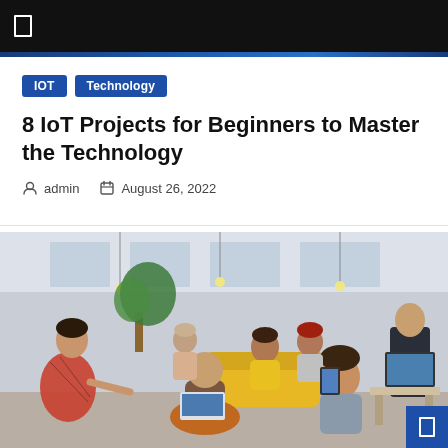IOT
Technology
8 IoT Projects for Beginners to Master the Technology
admin   August 26, 2022
[Figure (photo): Group of people in a modern office/co-working space having a discussion. Several people are seated in a casual circle; one woman in a plaid shirt is leaning forward talking, a man with curly hair is listening, others are seated on sofas in the background. Modern office with hanging bulb lights and plants.]